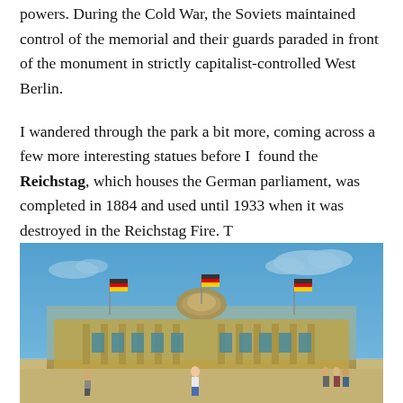powers. During the Cold War, the Soviets maintained control of the memorial and their guards paraded in front of the monument in strictly capitalist-controlled West Berlin.
I wandered through the park a bit more, coming across a few more interesting statues before I found the Reichstag, which houses the German parliament, was completed in 1884 and used until 1933 when it was destroyed in the Reichstag Fire. T
[Figure (photo): Photograph of the Reichstag building in Berlin with German flags, a blue sky with white clouds, and people standing in the open plaza in front of the building.]